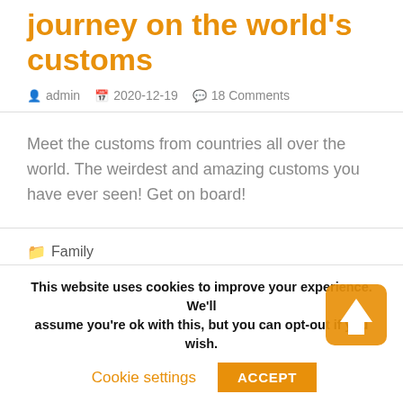journey on the world's customs
admin  2020-12-19  18 Comments
Meet the customs from countries all over the world. The weirdest and amazing customs you have ever seen! Get on board!
Family  Christmas, christmas customs, new year, Santa Clause
This website uses cookies to improve your experience. We'll assume you're ok with this, but you can opt-out if you wish.
Cookie settings  ACCEPT